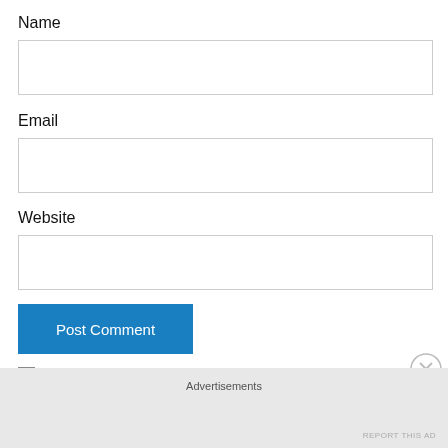Name
[Figure (other): Empty text input field for Name]
Email
[Figure (other): Empty text input field for Email]
Website
[Figure (other): Empty text input field for Website]
[Figure (other): Blue Post Comment button]
Notify me of new comments via email.
Advertisements
REPORT THIS AD